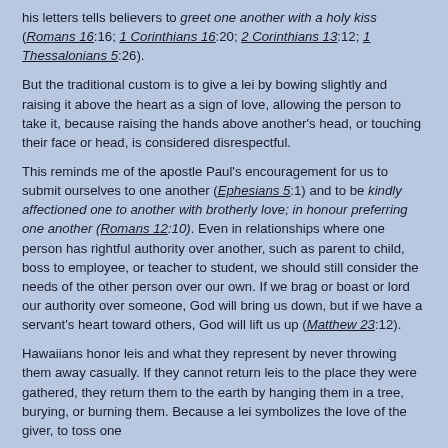his letters tells believers to greet one another with a holy kiss (Romans 16:16; 1 Corinthians 16:20; 2 Corinthians 13:12; 1 Thessalonians 5:26).
But the traditional custom is to give a lei by bowing slightly and raising it above the heart as a sign of love, allowing the person to take it, because raising the hands above another's head, or touching their face or head, is considered disrespectful.
This reminds me of the apostle Paul's encouragement for us to submit ourselves to one another (Ephesians 5:1) and to be kindly affectioned one to another with brotherly love; in honour preferring one another (Romans 12:10). Even in relationships where one person has rightful authority over another, such as parent to child, boss to employee, or teacher to student, we should still consider the needs of the other person over our own. If we brag or boast or lord our authority over someone, God will bring us down, but if we have a servant's heart toward others, God will lift us up (Matthew 23:12).
Hawaiians honor leis and what they represent by never throwing them away casually. If they cannot return leis to the place they were gathered, they return them to the earth by hanging them in a tree, burying, or burning them. Because a lei symbolizes the love of the giver, to toss one